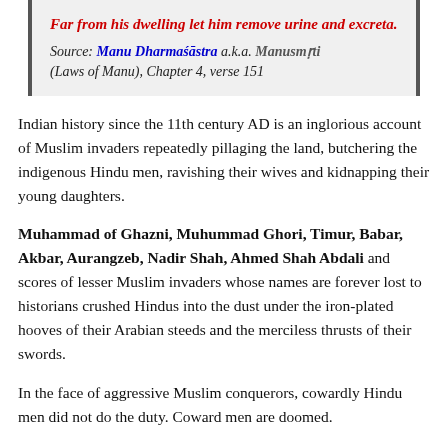Far from his dwelling let him remove urine and excreta.
Source: Manu Dharmaśāstra a.k.a. Manusmṛti (Laws of Manu), Chapter 4, verse 151
Indian history since the 11th century AD is an inglorious account of Muslim invaders repeatedly pillaging the land, butchering the indigenous Hindu men, ravishing their wives and kidnapping their young daughters.
Muhammad of Ghazni, Muhummad Ghori, Timur, Babar, Akbar, Aurangzeb, Nadir Shah, Ahmed Shah Abdali and scores of lesser Muslim invaders whose names are forever lost to historians crushed Hindus into the dust under the iron-plated hooves of their Arabian steeds and the merciless thrusts of their swords.
In the face of aggressive Muslim conquerors, cowardly Hindu men did not do the duty. Coward men are doomed.